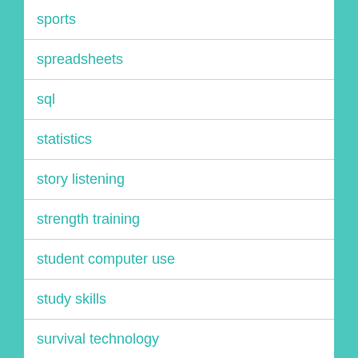sports
spreadsheets
sql
statistics
story listening
strength training
student computer use
study skills
survival technology
svg
technology
television shows